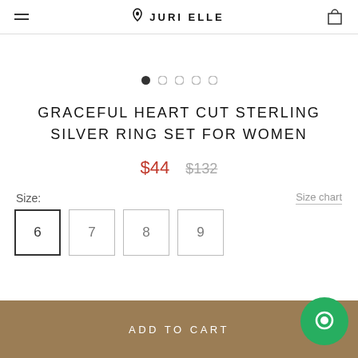JURI ELLE
[Figure (other): Product image carousel with 5 navigation dots, first dot active]
GRACEFUL HEART CUT STERLING SILVER RING SET FOR WOMEN
$44  $132
Size:
Size chart
6  7  8  9
ADD TO CART